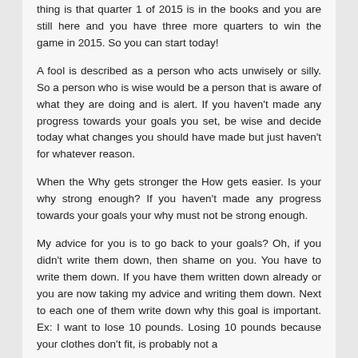thing is that quarter 1 of 2015 is in the books and you are still here and you have three more quarters to win the game in 2015.  So you can start today!
A fool is described as a person who acts unwisely or silly.  So a person who is wise would be a person that is aware of what they are doing and is alert.  If you haven't made any progress towards your goals you set, be wise and decide today what changes you should have made but just haven't for whatever reason.
When the Why gets stronger the How gets easier.  Is your why strong enough?  If you haven't made any progress towards your goals your why must not be strong enough.
My advice for you is to go back to your goals?  Oh, if you didn't write them down, then shame on you.  You have to write them down.  If you have them written down already or you are now taking my advice and writing them down.  Next to each one of them write down why this goal is important.  Ex:  I want to lose 10 pounds.  Losing 10 pounds because your clothes don't fit, is probably not a